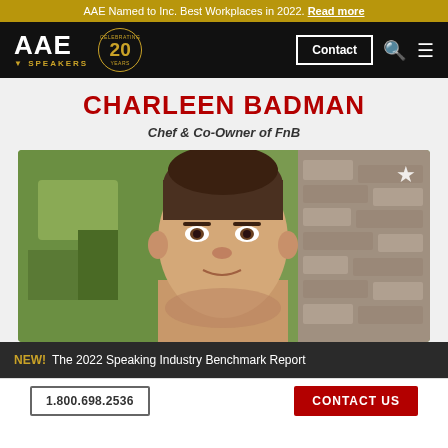AAE Named to Inc. Best Workplaces in 2022. Read more
[Figure (logo): AAE Speakers logo with 'Celebrating 20 Years' badge, navigation bar with Contact button, search icon, and hamburger menu]
CHARLEEN BADMAN
Chef & Co-Owner of FnB
[Figure (photo): Close-up photo of Charleen Badman with a star/bookmark icon in the top right corner]
NEW! The 2022 Speaking Industry Benchmark Report
1.800.698.2536   CONTACT US